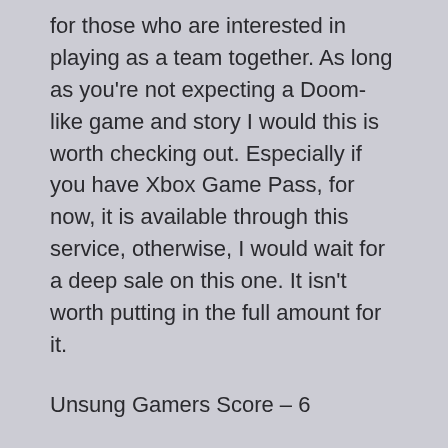for those who are interested in playing as a team together. As long as you're not expecting a Doom-like game and story I would this is worth checking out. Especially if you have Xbox Game Pass, for now, it is available through this service, otherwise, I would wait for a deep sale on this one. It isn't worth putting in the full amount for it.
Unsung Gamers Score – 6
Reviewed by: ShadowAlchemistX